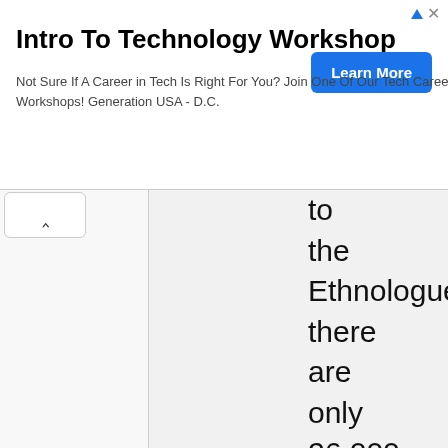[Figure (screenshot): Advertisement banner: Intro To Technology Workshop with Learn More button]
to the Ethnologue, there are only 26,000 speakers (1998) of a Berber